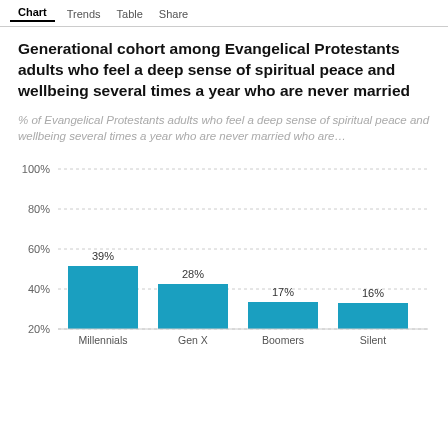Chart | Trends | Table | Share
Generational cohort among Evangelical Protestants adults who feel a deep sense of spiritual peace and wellbeing several times a year who are never married
% of Evangelical Protestants adults who feel a deep sense of spiritual peace and wellbeing several times a year who are never married who are…
[Figure (bar-chart): Generational cohort among Evangelical Protestants adults who feel a deep sense of spiritual peace and wellbeing several times a year who are never married]